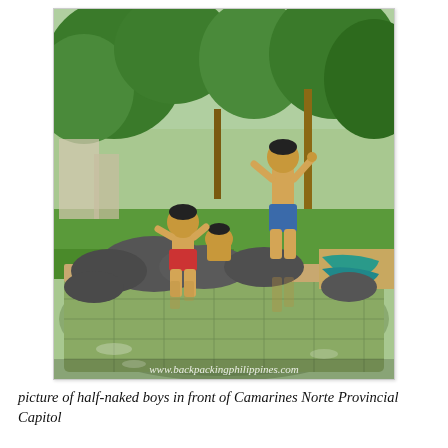[Figure (photo): Photograph of three statues of half-naked boys in a fountain/water feature in front of Camarines Norte Provincial Capitol. Trees and green lawn in background. Reflections visible in the water. Watermark: www.backpackingphilippines.com]
picture of half-naked boys in front of Camarines Norte Provincial Capitol